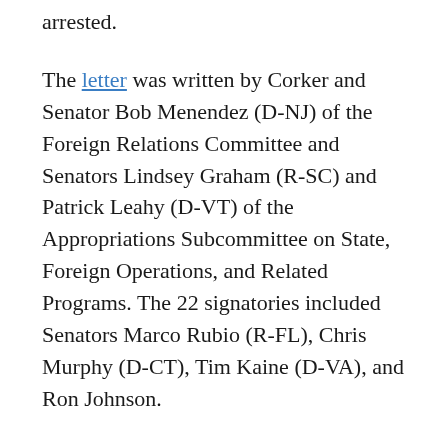arrested.
The letter was written by Corker and Senator Bob Menendez (D-NJ) of the Foreign Relations Committee and Senators Lindsey Graham (R-SC) and Patrick Leahy (D-VT) of the Appropriations Subcommittee on State, Foreign Operations, and Related Programs. The 22 signatories included Senators Marco Rubio (R-FL), Chris Murphy (D-CT), Tim Kaine (D-VA), and Ron Johnson.
The letter noted the Magnitsky Act – named for Russian lawyer Sergei Magnitsky, who the Russian government arrested and killed in 2009 after uncovering widespread corruption – requires the president to investigate "extrajudicial killing, torture, or other gross violation of internationally recognized human rights" by foreign authorities upon request by the Senate. The senator indicated he